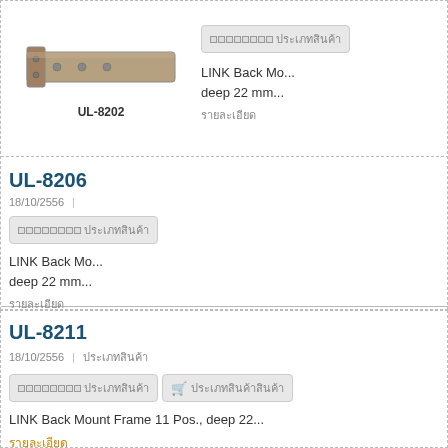[Figure (photo): Photo of UL-8202 metal back mount frame bracket, horizontal rectangular shape, brownish-gray metal]
UL-8202
ประเภทสินค้า
LINK Back Mo... deep 22 mm...
รายละเอียด
UL-8206
18/10/2556
ประเภทสินค้า
LINK Back Mo... deep 22 mm...
รายละเอียด
UL-8211
18/10/2556
ประเภทสินค้า
ใส่ตะกร้า | ประเภทสินค้า
LINK Back Mount Frame 11 Pos., deep 22...
รายละเอียด